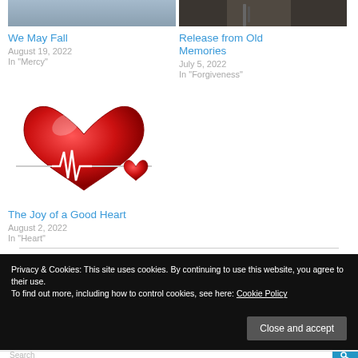[Figure (photo): Partial image of a person or sky, gray/blue tones, top-left card]
We May Fall
August 19, 2022
In "Mercy"
[Figure (photo): Dark close-up image, possibly a pen or object, top-right card]
Release from Old Memories
July 5, 2022
In "Forgiveness"
[Figure (illustration): Red heart with a white EKG/heartbeat line across it, classic medical heart illustration]
The Joy of a Good Heart
August 2, 2022
In "Heart"
Privacy & Cookies: This site uses cookies. By continuing to use this website, you agree to their use.
To find out more, including how to control cookies, see here: Cookie Policy
Close and accept
Search